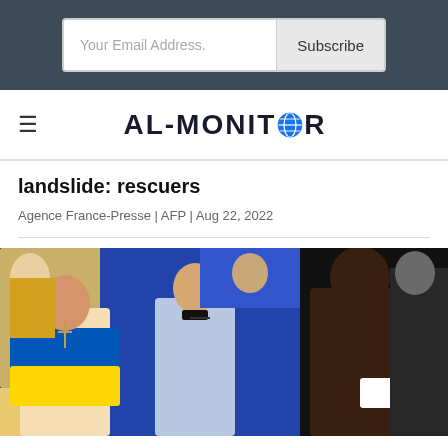Your Email Address. | Subscribe
[Figure (logo): AL-MONITOR logo with globe icon replacing the letter O]
landslide: rescuers
Agence France-Presse | AFP | Aug 22, 2022
[Figure (photo): Two boxers standing in a ring with a referee between them. The boxer on the left is wrapped in a Ukrainian flag (blue and yellow). The boxer on the right is a muscular Black man. Several people are visible in the background.]